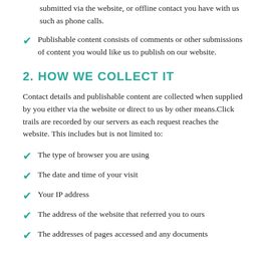submitted via the website, or offline contact you have with us such as phone calls.
Publishable content consists of comments or other submissions of content you would like us to publish on our website.
2. HOW WE COLLECT IT
Contact details and publishable content are collected when supplied by you either via the website or direct to us by other means.Click trails are recorded by our servers as each request reaches the website. This includes but is not limited to:
The type of browser you are using
The date and time of your visit
Your IP address
The address of the website that referred you to ours
The addresses of pages accessed and any documents